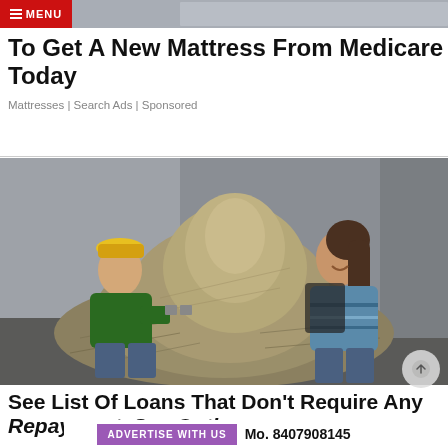☰ MENU
To Get A New Mattress From Medicare Today
Mattresses | Search Ads | Sponsored
[Figure (photo): Two people posing with a large pile of cash/money bills on the floor of a room. A man in a green jacket and yellow cap is crouching on the left, holding small items. A woman in a blue striped sweater is leaning over the pile from the right, smiling.]
See List Of Loans That Don't Require Any Repayment. See Options
ADVERTISE WITH US  Mo. 8407908145